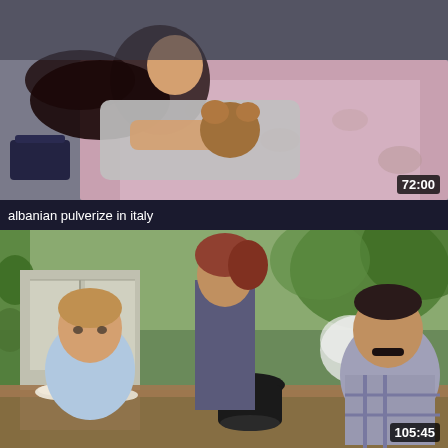[Figure (screenshot): Video thumbnail showing a woman with dark hair lying down holding a stuffed animal, duration badge 72:00 in bottom right]
albanian pulverize in italy
[Figure (screenshot): Video thumbnail showing a scene with a young man seated, a woman standing, and an older man with mustache at an outdoor table, duration badge 105:45 in bottom right]